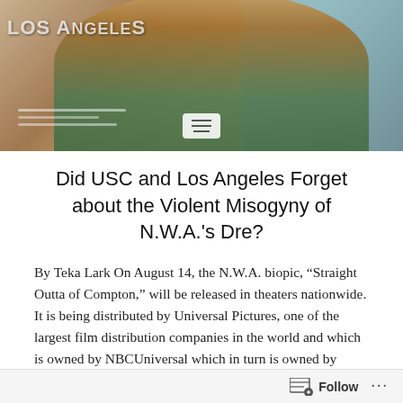[Figure (photo): Photograph of a person at a Los Angeles location, partially cropped, with muted colors and a hamburger/menu icon overlay at the bottom center]
Did USC and Los Angeles Forget about the Violent Misogyny of N.W.A.'s Dre?
By Teka Lark On August 14, the N.W.A. biopic, “Straight Outta of Compton,” will be released in theaters nationwide. It is being distributed by Universal Pictures, one of the largest film distribution companies in the world and which is owned by NBCUniversal which in turn is owned by Comcast/General Electric. I remember the casting
Follow ...